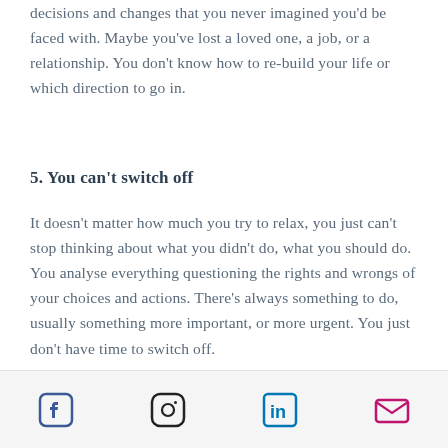decisions and changes that you never imagined you'd be faced with. Maybe you've lost a loved one, a job, or a relationship. You don't know how to rebuild your life or which direction to go in.
5. You can't switch off
It doesn't matter how much you try to relax, you just can't stop thinking about what you didn't do, what you should do. You analyse everything questioning the rights and wrongs of your choices and actions. There's always something to do, usually something more important, or more urgent. You just don't have time to switch off.
Social media icons: Facebook, Instagram, LinkedIn, Email